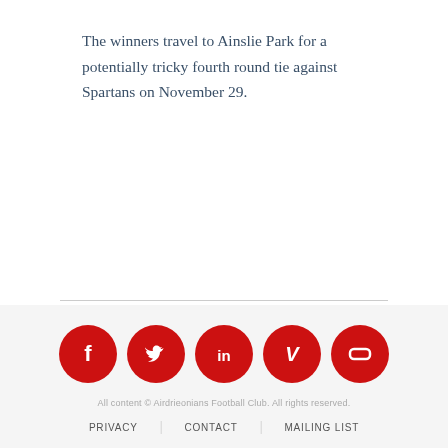The winners travel to Ainslie Park for a potentially tricky fourth round tie against Spartans on November 29.
[Figure (infographic): Five red circular social media icons in a row: Facebook (f), Twitter (bird), LinkedIn (in), Vimeo (V), and Squarespace/generic icon (rectangle with rounded corners)]
All content © Airdrieonians Football Club. All rights reserved.
PRIVACY | CONTACT | MAILING LIST